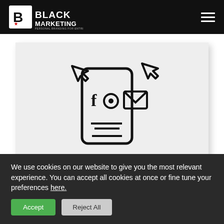[Figure (logo): Black Marketing logo — stylized B icon with red star, text BLACK MARKETING, tagline PERSONAL BRANDING FOR ENTREPRENEURS, white on black background]
[Figure (illustration): Line-art illustration of a smartphone with social media icons (Facebook f, camera/photo, envelope/email) and cursor arrows, on a light grey background]
[Figure (other): Red horizontal bar, partially visible below the grey illustration card]
We use cookies on our website to give you the most relevant experience. You can accept all cookies at once or fine tune your preferences here.